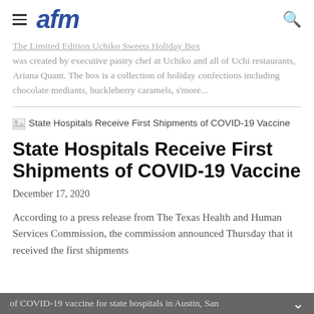afm
The Limited Edition Uchiko Sweets Holiday Box was created by executive pastry chef at Uchiko and all of Uchi restaurants, Ariana Quant. The box is a collection of holiday confections including chocolate mediants, huckleberry caramels, s'more...
[Figure (photo): Broken image placeholder for article thumbnail of State Hospitals Receive First Shipments of COVID-19 Vaccine]
State Hospitals Receive First Shipments of COVID-19 Vaccine
December 17, 2020
According to a press release from The Texas Health and Human Services Commission, the commission announced Thursday that it received the first shipments of COVID-19 vaccine for state hospitals in Austin, San